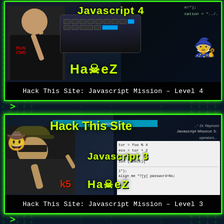[Figure (screenshot): Video thumbnail for 'Hack This Site: Javascript Mission – Level 4' featuring a man in a black RUN CMD shirt pointing upward, with keyboard, code overlay, and HaXeZ branding in yellow-green on dark background]
Hack This Site: Javascript Mission – Level 4
>
[Figure (screenshot): Video thumbnail for 'Hack This Site: Javascript Mission – Level 3' featuring a man in a hat and sunglasses pointing, with Hack This Site and Javascript 3 text overlay and HaXeZ branding in yellow-green, code panel visible on right side]
Hack This Site: Javascript Mission – Level 3
>